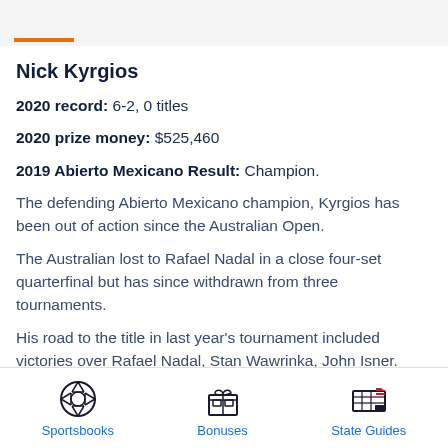Nick Kyrgios
2020 record: 6-2, 0 titles
2020 prize money: $525,460
2019 Abierto Mexicano Result: Champion.
The defending Abierto Mexicano champion, Kyrgios has been out of action since the Australian Open.
The Australian lost to Rafael Nadal in a close four-set quarterfinal but has since withdrawn from three tournaments.
His road to the title in last year's tournament included victories over Rafael Nadal, Stan Wawrinka, John Isner.
Sportsbooks  Bonuses  State Guides